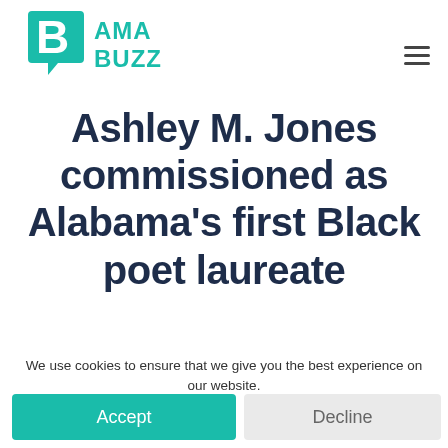[Figure (logo): Bama Buzz logo: teal chat bubble shaped letter B on left, teal text 'BAMA BUZZ' stacked on right]
Ashley M. Jones commissioned as Alabama’s first Black poet laureate
We use cookies to ensure that we give you the best experience on our website.
Accept
Decline